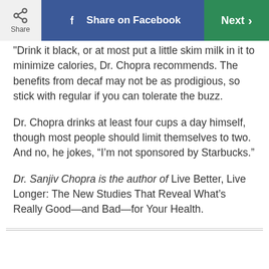Share | Share on Facebook | Next
"Drink it black, or at most put a little skim milk in it to minimize calories, Dr. Chopra recommends. The benefits from decaf may not be as prodigious, so stick with regular if you can tolerate the buzz.
Dr. Chopra drinks at least four cups a day himself, though most people should limit themselves to two. And no, he jokes, “I’m not sponsored by Starbucks.”
Dr. Sanjiv Chopra is the author of Live Better, Live Longer: The New Studies That Reveal What’s Really Good—and Bad—for Your Health.